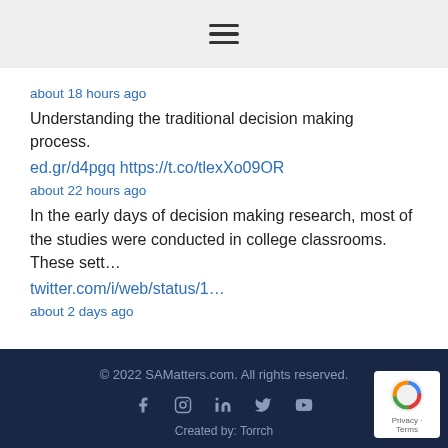[Figure (other): Hamburger menu icon (three horizontal lines) in a light gray header bar]
about 18 hours ago
Understanding the traditional decision making process.
ed.gr/d4pgq https://t.co/tlexXo09OR
about 22 hours ago
In the early days of decision making research, most of the studies were conducted in college classrooms. These sett…
twitter.com/i/web/status/1…
about 2 days ago
© 2022 SAMatters.com. All rights reserved.
Created by: Torrch